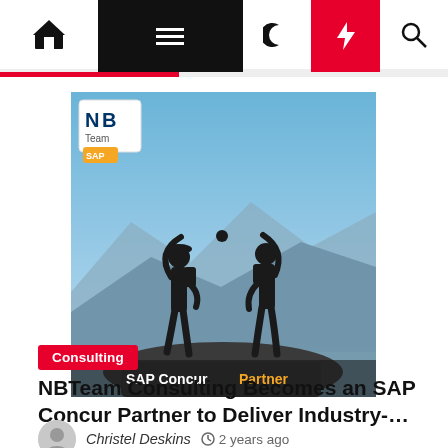Navigation bar with home, menu, moon, flash and search icons
[Figure (photo): NBTeam SAP Concur Partner promotional image showing two hikers silhouetted against a mountain sky doing a high-five, with NB Team logo and SAP logo at top and 'SAP Concur Partner' text at bottom]
Consulting
NBTeam Consulting Becomes an SAP Concur Partner to Deliver Industry-…
Christel Deskins  ⏱ 2 years ago